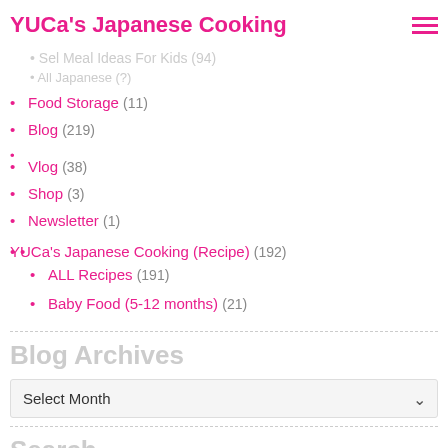YUCa's Japanese Cooking
Sel Meal Ideas For Kids (94)
All Japanese (?)
Food Storage (11)
Blog (219)
Vlog (38)
Shop (3)
Newsletter (1)
YUCa's Japanese Cooking (Recipe) (192)
ALL Recipes (191)
Baby Food (5-12 months) (21)
Blog Archives
Select Month
Search
To search, type and hit enter.